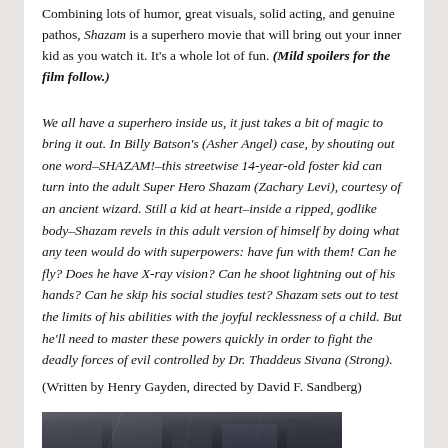Combining lots of humor, great visuals, solid acting, and genuine pathos, Shazam is a superhero movie that will bring out your inner kid as you watch it. It's a whole lot of fun. (Mild spoilers for the film follow.)
We all have a superhero inside us, it just takes a bit of magic to bring it out. In Billy Batson's (Asher Angel) case, by shouting out one word–SHAZAM!–this streetwise 14-year-old foster kid can turn into the adult Super Hero Shazam (Zachary Levi), courtesy of an ancient wizard. Still a kid at heart–inside a ripped, godlike body–Shazam revels in this adult version of himself by doing what any teen would do with superpowers: have fun with them! Can he fly? Does he have X-ray vision? Can he shoot lightning out of his hands? Can he skip his social studies test? Shazam sets out to test the limits of his abilities with the joyful recklessness of a child. But he'll need to master these powers quickly in order to fight the deadly forces of evil controlled by Dr. Thaddeus Sivana (Strong).
(Written by Henry Gayden, directed by David F. Sandberg)
[Figure (photo): Partial view of a movie scene image strip from Shazam, showing dark tones with lightning or dramatic lighting effects.]